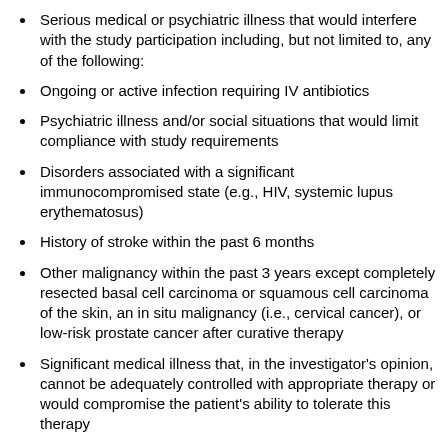Serious medical or psychiatric illness that would interfere with the study participation including, but not limited to, any of the following:
Ongoing or active infection requiring IV antibiotics
Psychiatric illness and/or social situations that would limit compliance with study requirements
Disorders associated with a significant immunocompromised state (e.g., HIV, systemic lupus erythematosus)
History of stroke within the past 6 months
Other malignancy within the past 3 years except completely resected basal cell carcinoma or squamous cell carcinoma of the skin, an in situ malignancy (i.e., cervical cancer), or low-risk prostate cancer after curative therapy
Significant medical illness that, in the investigator's opinion, cannot be adequately controlled with appropriate therapy or would compromise the patient's ability to tolerate this therapy
Disease that will obscure toxicity or dangerously alter the drug